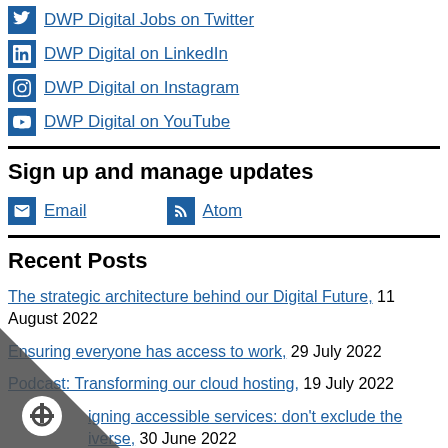DWP Digital Jobs on Twitter
DWP Digital on LinkedIn
DWP Digital on Instagram
DWP Digital on YouTube
Sign up and manage updates
Email
Atom
Recent Posts
The strategic architecture behind our Digital Future, 11 August 2022
Ensuring everyone has access to work, 29 July 2022
Podcast: Transforming our cloud hosting, 19 July 2022
igning accessible services: don't exclude the iverse, 30 June 2022